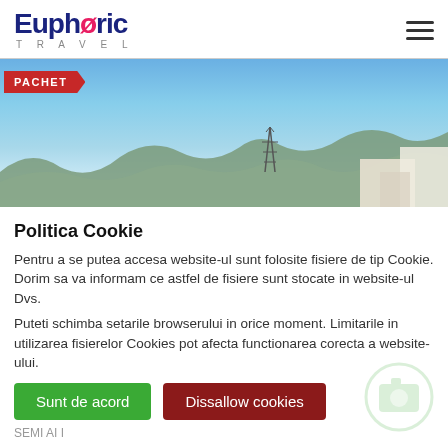[Figure (logo): Euphoric Travel logo with stylized pink swirl on the O and TRAVEL text below]
[Figure (photo): Outdoor landscape photo showing blue sky, mountains in the background, a transmission tower, and white buildings on the right. A red PACHET ribbon is overlaid on the top-left. Below the photo is a gray placeholder area with a camera icon.]
Politica Cookie
Pentru a se putea accesa website-ul sunt folosite fisiere de tip Cookie. Dorim sa va informam ce astfel de fisiere sunt stocate in website-ul Dvs.
Puteti schimba setarile browserului in orice moment. Limitarile in utilizarea fisierelor Cookies pot afecta functionarea corecta a website-ului.
Sunt de acord
Dissallow cookies